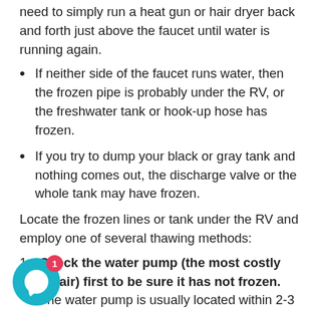need to simply run a heat gun or hair dryer back and forth just above the faucet until water is running again.
If neither side of the faucet runs water, then the frozen pipe is probably under the RV, or the freshwater tank or hook-up hose has frozen.
If you try to dump your black or gray tank and nothing comes out, the discharge valve or the whole tank may have frozen.
Locate the frozen lines or tank under the RV and employ one of several thawing methods:
Check the water pump (the most costly repair) first to be sure it has not frozen. The water pump is usually located within 2-3 feet of your freshwater tank, so if the fresh water tank exists outside of the living space, it's possible the water pump may as well. If you suspect any part of the